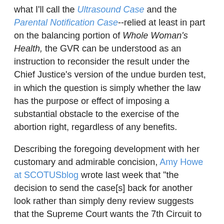what I'll call the Ultrasound Case and the Parental Notification Case--relied at least in part on the balancing portion of Whole Woman's Health, the GVR can be understood as an instruction to reconsider the result under the Chief Justice's version of the undue burden test, in which the question is simply whether the law has the purpose or effect of imposing a substantial obstacle to the exercise of the abortion right, regardless of any benefits.
Describing the foregoing development with her customary and admirable concision, Amy Howe at SCOTUSblog wrote last week that "the decision to send the case[s] back for another look rather than simply deny review suggests that the Supreme Court wants the 7th Circuit to apply the more lenient test outlined in the concurring opinion filed by Chief Justice John Roberts in June Medical, which would not include a balancing of the benefits of the law against the burden it places on pregnant women." Let's explore the question whether the Chief's test is necessarily "more lenient" than the balancing test of Whole Woman's Health.
Readers who have not been following the abortion